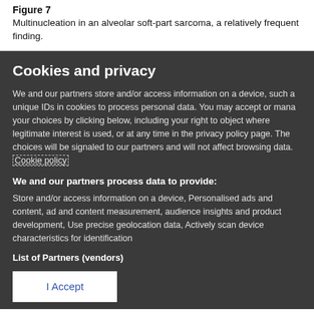Figure 7
Multinucleation in an alveolar soft-part sarcoma, a relatively frequent finding.
Cookies and privacy
We and our partners store and/or access information on a device, such a unique IDs in cookies to process personal data. You may accept or manage your choices by clicking below, including your right to object where legitimate interest is used, or at any time in the privacy policy page. These choices will be signaled to our partners and will not affect browsing data. Cookie policy
We and our partners process data to provide:
Store and/or access information on a device, Personalised ads and content, ad and content measurement, audience insights and product development, Use precise geolocation data, Actively scan device characteristics for identification
List of Partners (vendors)
I Accept